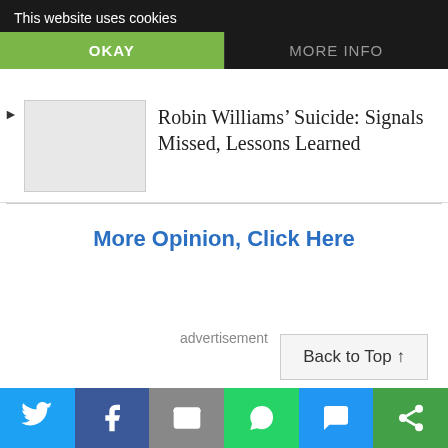This website uses cookies
OKAY
MORE INFO
Robin Williams' Suicide: Signals Missed, Lessons Learned
More Opinion, Click Here
advertisement
Back to Top ↑